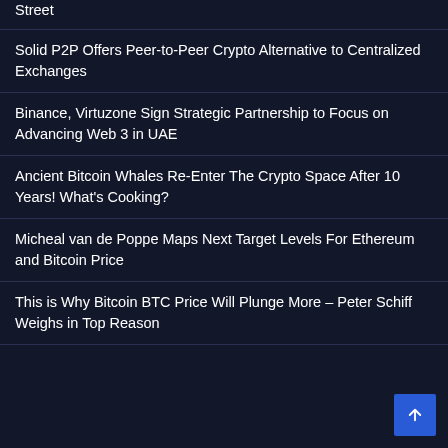Street
Solid P2P Offers Peer-to-Peer Crypto Alternative to Centralized Exchanges
Binance, Virtuzone Sign Strategic Partnership to Focus on Advancing Web 3 in UAE
Ancient Bitcoin Whales Re-Enter The Crypto Space After 10 Years! What's Cooking?
Micheal van de Poppe Maps Next Target Levels For Ethereum and Bitcoin Price
This is Why Bitcoin BTC Price Will Plunge More – Peter Schiff Weighs in Top Reason